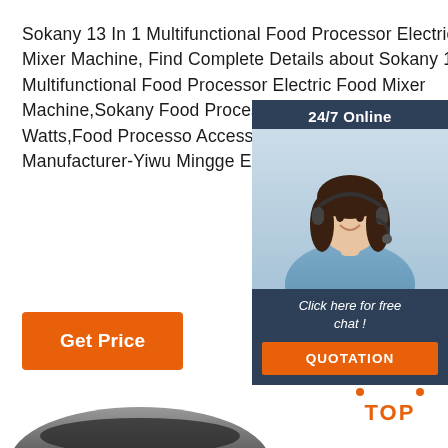Sokany 13 In 1 Multifunctional Food Processor Electric Food Mixer Machine, Find Complete Details about Sokany 13 In 1 Multifunctional Food Processor Electric Food Mixer Machine,Sokany Food Processor Blender,Food Processor 1000 Watts,Food Processor Accessories from Food Processors Supplier or Manufacturer-Yiwu Mingge Electric Appliance Co., Ltd.
[Figure (illustration): Live chat widget showing a customer service agent (woman with headset) with '24/7 Online' header, 'Click here for free chat!' text, and orange QUOTATION button]
Get Price
[Figure (illustration): Orange TOP button with dot pattern above it, used for scroll-to-top navigation]
[Figure (photo): Partial view of Sokany food processor product at bottom of page]